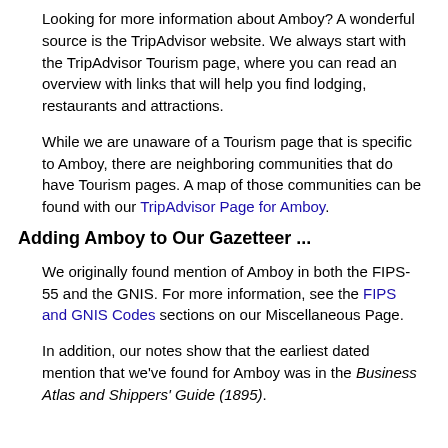Looking for more information about Amboy? A wonderful source is the TripAdvisor website. We always start with the TripAdvisor Tourism page, where you can read an overview with links that will help you find lodging, restaurants and attractions.
While we are unaware of a Tourism page that is specific to Amboy, there are neighboring communities that do have Tourism pages. A map of those communities can be found with our TripAdvisor Page for Amboy.
Adding Amboy to Our Gazetteer ...
We originally found mention of Amboy in both the FIPS-55 and the GNIS. For more information, see the FIPS and GNIS Codes sections on our Miscellaneous Page.
In addition, our notes show that the earliest dated mention that we've found for Amboy was in the Business Atlas and Shippers' Guide (1895).